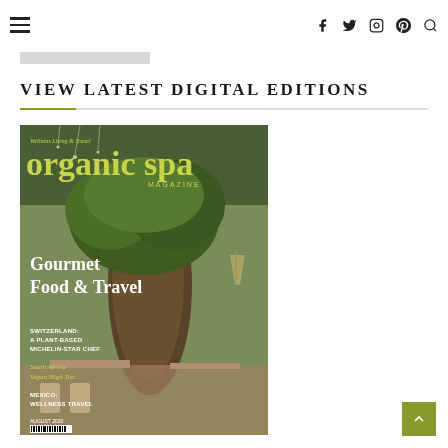≡  [navigation icons: facebook, twitter, instagram, pinterest, search]
VIEW LATEST DIGITAL EDITIONS
[Figure (illustration): Cover of Organic Spa Magazine featuring Gourmet Food & Travel issue. Yellow-green masthead reading 'organic spa MAGAZINE'. Tagline 'Wellness Living & Travel'. Cover stories: Switzerland: A Plant-Based Michelin-Star Chef, South Africa: Vegan High Tea, Mexico: Wellness Travel. Background shows a lush green restaurant interior with large tree. Gourmet Food & Travel headline in white text.]